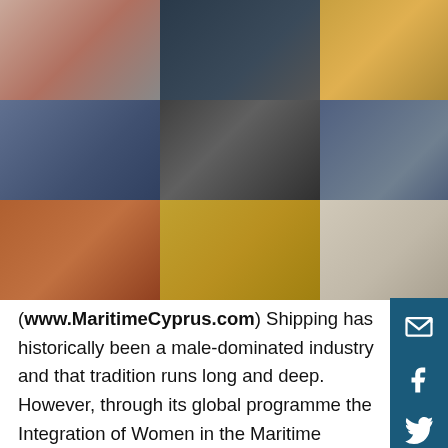[Figure (photo): Collage of 18 photos showing women working in the maritime industry — on ships, at ports, in operations, and at sea — arranged in a 6×3 grid.]
(www.MaritimeCyprus.com) Shipping has historically been a male-dominated industry and that tradition runs long and deep. However, through its global programme the Integration of Women in the Maritime Sector, IMO is making a concerted effort to help the industry move on from that tradition and to help women achieve a representation within it that is more in keeping with twenty-first century expectations.